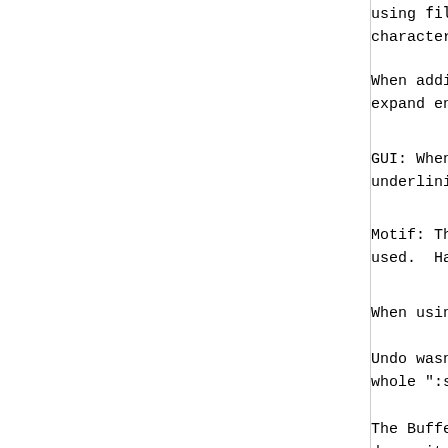using ‘fill’ or ‘ni’ with CTRL-... character.
When adding to an option like 'c... expand environment variables whe...
GUI: When using a bold-italic fo... underlining.
Motif: The default button didn't... used. Had to give input focus t...
When using CTRL-T to jump withi...
Undo wasn't Vi compatible when m... whole ":s" command instead of ea...
The Buffers menu, when torn-off,... dummy item to avoid this.
Removed calling msg_start() in m...
vim_strpbrk() did not support mu...
The Amiga version didn't compile... Moved a few files from ex_docmd...
When evaluating the "= register...